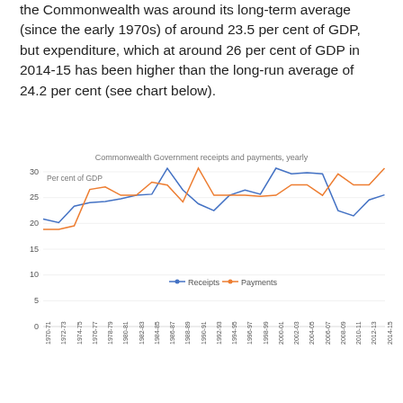the Commonwealth was around its long-term average (since the early 1970s) of around 23.5 per cent of GDP, but expenditure, which at around 26 per cent of GDP in 2014-15 has been higher than the long-run average of 24.2 per cent (see chart below).
[Figure (line-chart): Commonwealth Government receipts and payments, yearly]